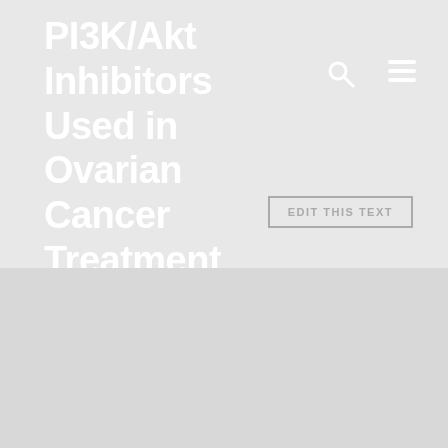PI3K/Akt Inhibitors Used in Ovarian Cancer Treatment
pneumonia (DIP), acute interstitial pneumonia (AIP), lymphoid interstitial pneumonia (LIP), nonspecific interstitial pneumonia (NSIP), and BI8622 cryptogenic organizing pneumonia (COP)) are distinct entities, with marked differences in prognosis and responsiveness to therapy [1, 3, 4]. These entities are discussed elsewhere in this